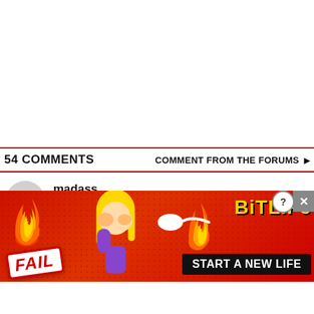54 COMMENTS   COMMENT FROM THE FORUMS ▶
madass
"concerns about privacy"
[Figure (illustration): BitLife mobile game advertisement banner with FAIL badge, animated character facepalming, flames, sperm icon, BitLife logo in gold, and 'START A NEW LIFE' button on black background. Red dotted background texture.]